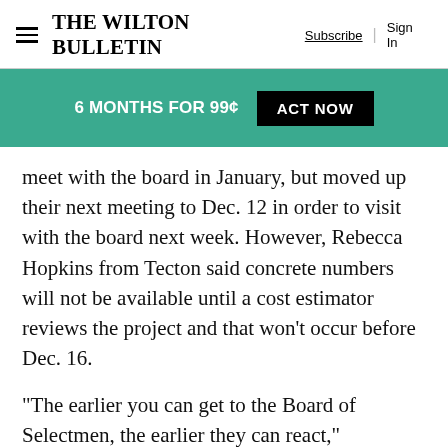The Wilton Bulletin | Subscribe | Sign In
6 MONTHS FOR 99¢  ACT NOW
meet with the board in January, but moved up their next meeting to Dec. 12 in order to visit with the board next week. However, Rebecca Hopkins from Tecton said concrete numbers will not be available until a cost estimator reviews the project and that won't occur before Dec. 16.
“The earlier you can get to the Board of Selectmen, the earlier they can react,” Vanderslice said, adding the board has a sense